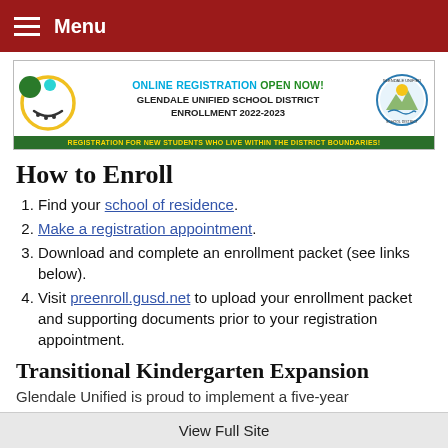Menu
[Figure (infographic): Glendale Unified School District Online Registration 2022-2023 banner. Text: ONLINE REGISTRATION OPEN NOW! GLENDALE UNIFIED SCHOOL DISTRICT ENROLLMENT 2022-2023. Bottom green bar: REGISTRATION FOR NEW STUDENTS WHO LIVE WITHIN THE DISTRICT BOUNDARIES!]
How to Enroll
Find your school of residence.
Make a registration appointment.
Download and complete an enrollment packet (see links below).
Visit preenroll.gusd.net to upload your enrollment packet and supporting documents prior to your registration appointment.
Transitional Kindergarten Expansion
Glendale Unified is proud to implement a five-year
View Full Site